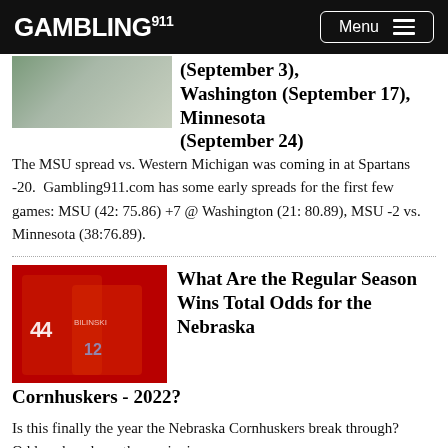GAMBLING911 Menu
[Figure (photo): Partial photo of a football player in green/white uniform]
(September 3), Washington (September 17), Minnesota (September 24)
The MSU spread vs. Western Michigan was coming in at Spartans -20. Gambling911.com has some early spreads for the first few games: MSU (42: 75.86) +7 @ Washington (21: 80.89), MSU -2 vs. Minnesota (38:76.89).
[Figure (photo): Football players in red and dark uniforms, player #44 and #12 visible]
What Are the Regular Season Wins Total Odds for the Nebraska Cornhuskers - 2022?
Is this finally the year the Nebraska Cornhuskers break through? Oddsmakers have them winning